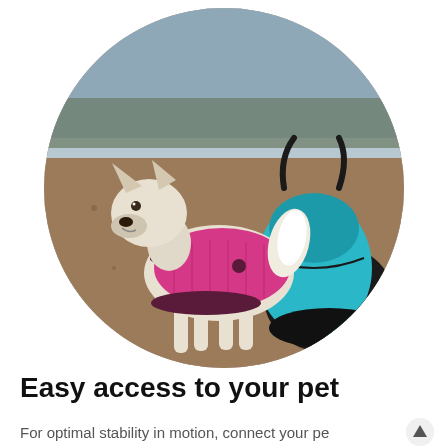[Figure (photo): A white dog wearing a pink quilted jacket/coat standing outdoors on gravel near a lake, with a teal/turquoise pet carrier bag behind it. The photo is cropped in a circle shape.]
Easy access to your pet
For optimal stability in motion, connect your pet's harness to the interior clip. Also, you can zip the